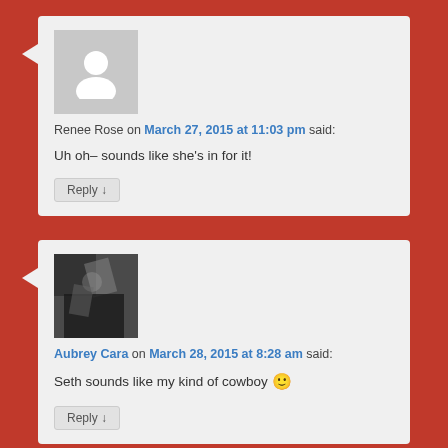[Figure (illustration): Gray placeholder avatar silhouette for Renee Rose comment]
Renee Rose on March 27, 2015 at 11:03 pm said:
Uh oh– sounds like she's in for it!
Reply ↓
[Figure (photo): Profile photo for Aubrey Cara showing a decorative image]
Aubrey Cara on March 28, 2015 at 8:28 am said:
Seth sounds like my kind of cowboy 🙂
Reply ↓